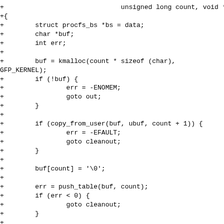Code diff showing a C kernel function implementation with procfs_bs struct, kmalloc, copy_from_user, push_table, kfree, pull_table operations